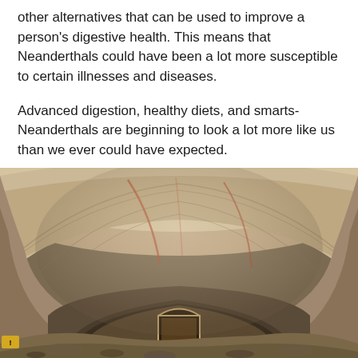other alternatives that can be used to improve a person's digestive health. This means that Neanderthals could have been a lot more susceptible to certain illnesses and diseases.
Advanced digestion, healthy diets, and smarts-Neanderthals are beginning to look a lot more like us than we ever could have expected.
[Figure (photo): Interior of a cave or ancient stone tunnel with an arched ceiling and a smaller arched doorway or passage visible in the background. The stone walls show layered rock formations in shades of beige, tan, and reddish-brown. Rubble and debris line the floor.]